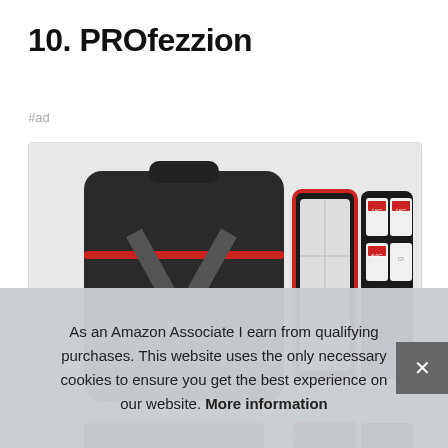10. PROfezzion
#ad
[Figure (photo): Product photo showing PROfezzion camera accessories including a hard-shell case and memory card holders with red accents]
As an Amazon Associate I earn from qualifying purchases. This website uses the only necessary cookies to ensure you get the best experience on our website. More information